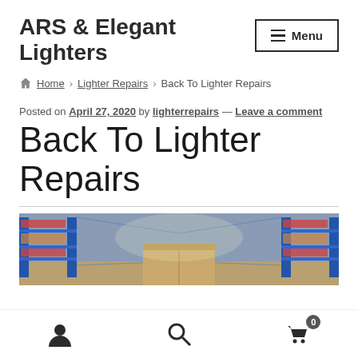ARS & Elegant Lighters
Menu
Home › Lighter Repairs › Back To Lighter Repairs
Posted on April 27, 2020 by lighterrepairs — Leave a comment
Back To Lighter Repairs
[Figure (photo): Warehouse interior with shelving racks and a cardboard box in the foreground]
User icon | Search icon | Cart icon with badge 0